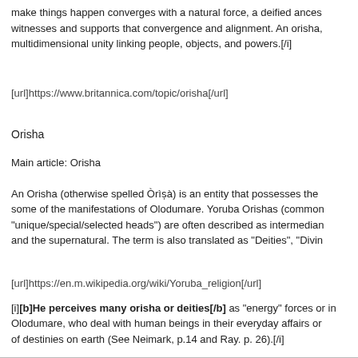make things happen converges with a natural force, a deified ances witnesses and supports that convergence and alignment. An orisha, multidimensional unity linking people, objects, and powers.[/i]
[url]https://www.britannica.com/topic/orisha[/url]
Orisha
Main article: Orisha
An Orisha (otherwise spelled Òrìṣà) is an entity that possesses the some of the manifestations of Olodumare. Yoruba Orishas (common "unique/special/selected heads") are often described as intermedian and the supernatural. The term is also translated as "Deities", "Divin
[url]https://en.m.wikipedia.org/wiki/Yoruba_religion[/url]
[i][b]He perceives many orisha or deities[/b] as "energy" forces or in Olodumare, who deal with human beings in their everyday affairs or of destinies on earth (See Neimark, p.14 and Ray. p. 26).[/i]
[url]http://organizations.uncfsu.edu/ncrsa/journal/v03/johnsonoyinad